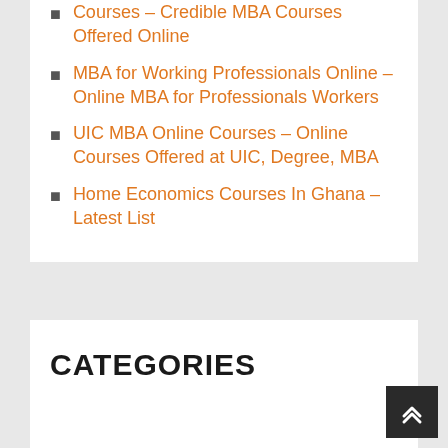Courses – Credible MBA Courses Offered Online
MBA for Working Professionals Online – Online MBA for Professionals Workers
UIC MBA Online Courses – Online Courses Offered at UIC, Degree, MBA
Home Economics Courses In Ghana – Latest List
CATEGORIES